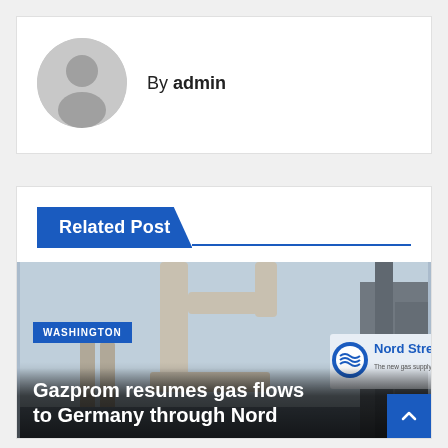[Figure (illustration): Gray circular avatar/profile placeholder icon with silhouette of a person]
By admin
Related Post
[Figure (photo): Industrial gas pipeline facility with Nord Stream logo visible. Tag: WASHINGTON. Headline: Gazprom resumes gas flows to Germany through Nord]
Gazprom resumes gas flows to Germany through Nord